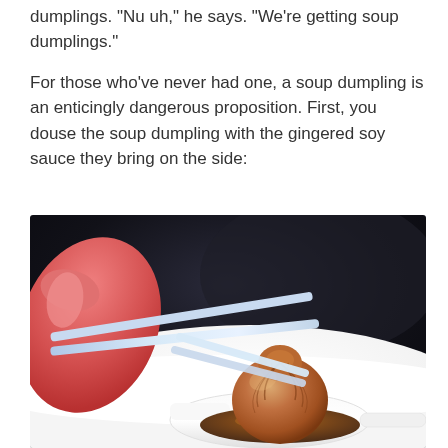dumplings. "Nu uh," he says. "We're getting soup dumplings."
For those who've never had one, a soup dumpling is an enticingly dangerous proposition. First, you douse the soup dumpling with the gingered soy sauce they bring on the side:
[Figure (photo): Close-up photo of a soup dumpling (xiaolongbao) held by blue-white chopsticks in a pink-gloved hand, resting on a white ceramic spoon filled with dark amber soy sauce, on a white plate background.]